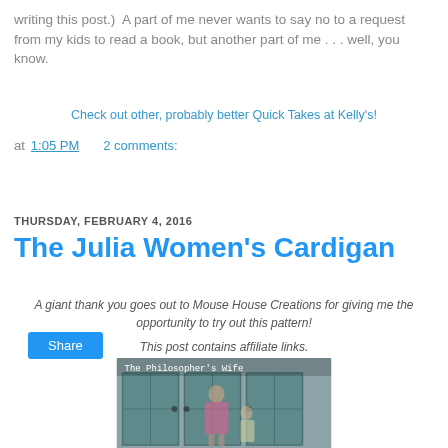writing this post.)  A part of me never wants to say no to a request from my kids to read a book, but another part of me . . . well, you know.
Check out other, probably better Quick Takes at Kelly's!
at 1:05 PM   2 comments:
Share
THURSDAY, FEBRUARY 4, 2016
The Julia Women's Cardigan
A giant thank you goes out to Mouse House Creations for giving me the opportunity to try out this pattern!
This post contains affiliate links.
[Figure (photo): Photo showing a woman in a pink striped cardigan and a young girl standing in front of teal wooden doors, with text overlay 'The Philosopher's Wife']